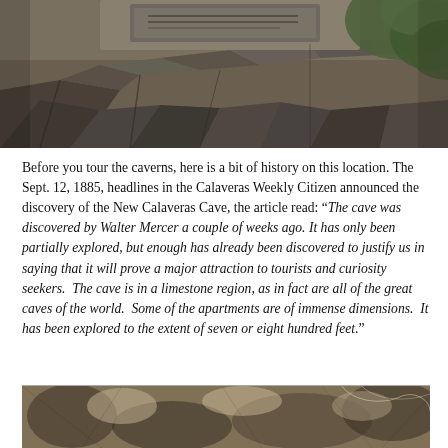[Figure (photo): Photo of a rock wall with a plaque or sign, with green foliage visible on the right side. Outdoor setting showing stacked rocks.]
Before you tour the caverns, here is a bit of history on this location. The Sept. 12, 1885, headlines in the Calaveras Weekly Citizen announced the discovery of the New Calaveras Cave, the article read: “The cave was discovered by Walter Mercer a couple of weeks ago. It has only been partially explored, but enough has already been discovered to justify us in saying that it will prove a major attraction to tourists and curiosity seekers. The cave is in a limestone region, as in fact are all of the great caves of the world. Some of the apartments are of immense dimensions. It has been explored to the extent of seven or eight hundred feet.”
[Figure (photo): Sepia-toned photo showing cave interior or rocky formation, partially visible at bottom of page.]